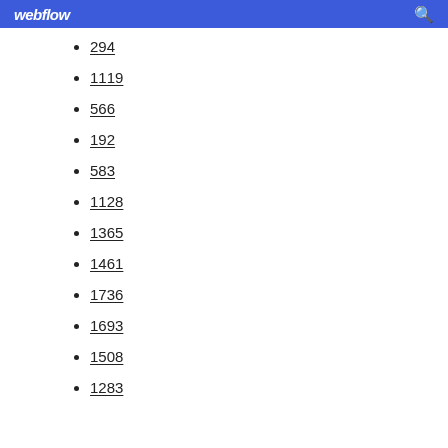webflow
294
1119
566
192
583
1128
1365
1461
1736
1693
1508
1283